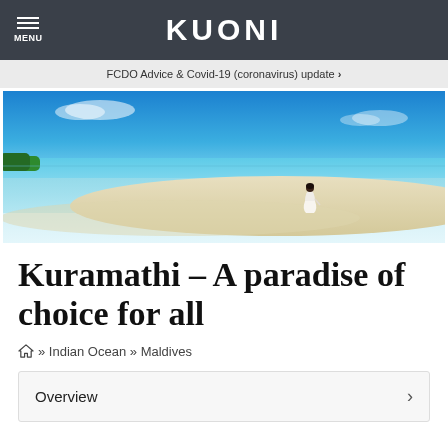KUONI
FCDO Advice & Covid-19 (coronavirus) update >
[Figure (photo): A person in a white dress standing on a sandbank in shallow turquoise waters of the Maldives, with blue sky and sea in the background.]
Kuramathi – A paradise of choice for all
» Indian Ocean » Maldives
Overview